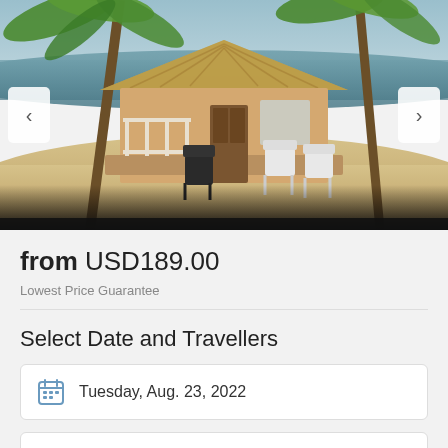[Figure (photo): A beach bungalow with thatched roof surrounded by palm trees on a sandy beach. White plastic chairs are visible on the deck. Navigation arrows on left and right sides of the image.]
from USD189.00
Lowest Price Guarantee
Select Date and Travellers
Tuesday, Aug. 23, 2022
Number of travellers